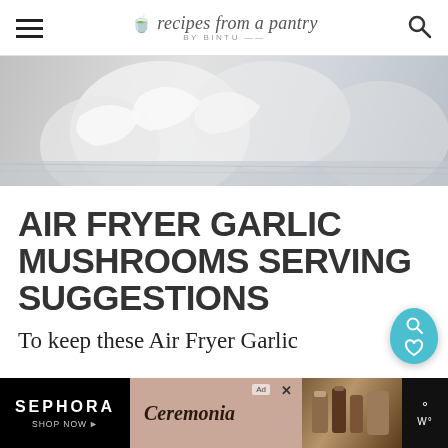recipes from a pantry BY BINTU
[Figure (photo): Close-up black and white photo of garlic bulbs and cloves]
AIR FRYER GARLIC MUSHROOMS SERVING SUGGESTIONS
To keep these Air Fryer Garlic Mushrooms
[Figure (other): Sephora and Ceremonia advertisement banner at the bottom of the page]